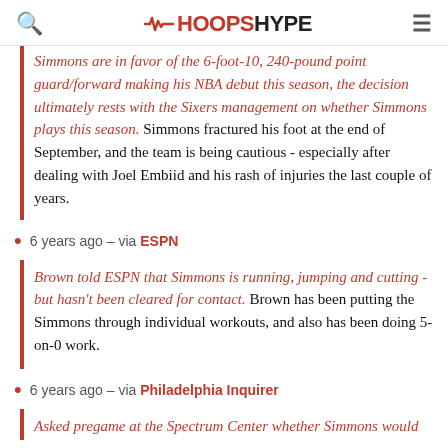HOOPSHYPE
Simmons are in favor of the 6-foot-10, 240-pound point guard/forward making his NBA debut this season, the decision ultimately rests with the Sixers management on whether Simmons plays this season. Simmons fractured his foot at the end of September, and the team is being cautious - especially after dealing with Joel Embiid and his rash of injuries the last couple of years.
6 years ago – via ESPN
Brown told ESPN that Simmons is running, jumping and cutting - but hasn't been cleared for contact. Brown has been putting the Simmons through individual workouts, and also has been doing 5-on-0 work.
6 years ago – via Philadelphia Inquirer
Asked pregame at the Spectrum Center whether Simmons would start playing some more and get to the 5-on-5 area, Brown didn't hesitate with his answer about the weight of foot and his foot on the last…